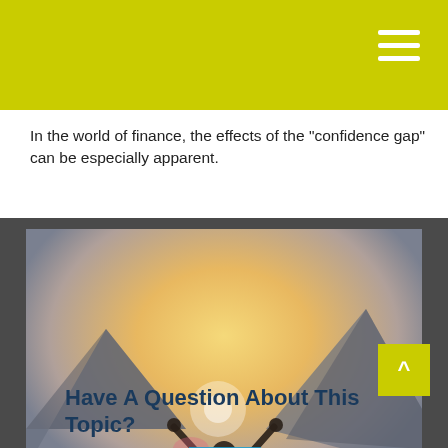In the world of finance, the effects of the "confidence gap" can be especially apparent.
[Figure (photo): Person standing on a mountain summit with arms raised in triumph, backlit by sunlight, with a blue play button overlay indicating a video player.]
+ Share |
Have A Question About This Topic?